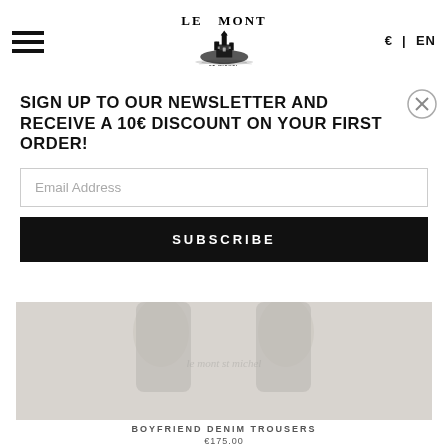[Figure (logo): Le Mont St Michel brand logo with castle illustration, hamburger menu icon, and currency/language selector showing € | EN]
SIGN UP TO OUR NEWSLETTER AND RECEIVE A 10€ DISCOUNT ON YOUR FIRST ORDER!
Email Address
SUBSCRIBE
[Figure (photo): Product photo of boyfriend denim trousers, light grey/beige background with model lower body visible]
BOYFRIEND DENIM TROUSERS
€175.00